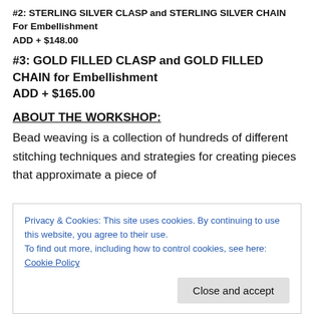#2: STERLING SILVER CLASP and STERLING SILVER CHAIN For Embellishment
ADD + $148.00
#3: GOLD FILLED CLASP and GOLD FILLED CHAIN for Embellishment
ADD + $165.00
ABOUT THE WORKSHOP:
Bead weaving is a collection of hundreds of different stitching techniques and strategies for creating pieces that approximate a piece of
Privacy & Cookies: This site uses cookies. By continuing to use this website, you agree to their use.
To find out more, including how to control cookies, see here: Cookie Policy
pattern, or zig-zag effect.